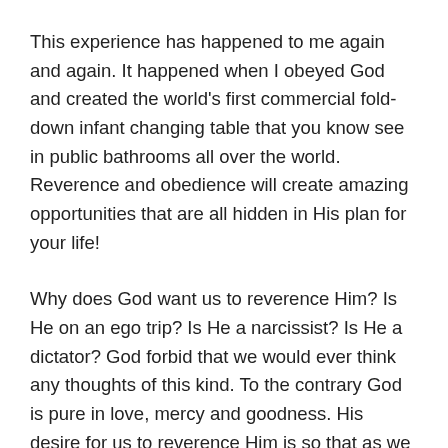This experience has happened to me again and again. It happened when I obeyed God and created the world's first commercial fold-down infant changing table that you know see in public bathrooms all over the world. Reverence and obedience will create amazing opportunities that are all hidden in His plan for your life!
Why does God want us to reverence Him? Is He on an ego trip? Is He a narcissist? Is He a dictator? God forbid that we would ever think any thoughts of this kind. To the contrary God is pure in love, mercy and goodness. His desire for us to reverence Him is so that as we follow His leading—the result which will be a life of blessing. His perfect will for each of our lives will ultimately lead us into a life we look back on and consider fulfilling and greatly blessed. That is exactly how I feel today looking